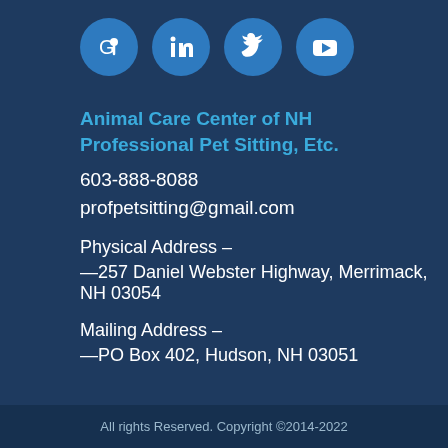[Figure (infographic): Four circular social media icons in blue: Google Maps/Places, LinkedIn, Twitter, YouTube]
Animal Care Center of NH Professional Pet Sitting, Etc.
603-888-8088
profpetsitting@gmail.com
Physical Address –
—257 Daniel Webster Highway, Merrimack, NH 03054
Mailing Address –
—PO Box 402, Hudson, NH 03051
All rights Reserved. Copyright ©2014-2022